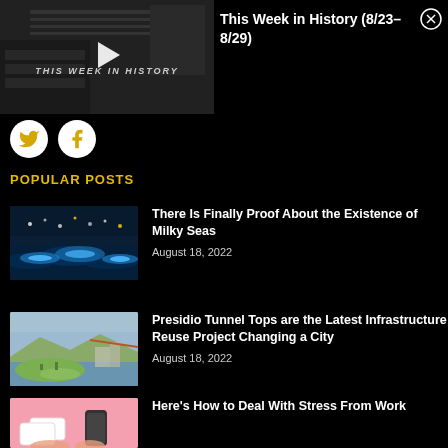[Figure (screenshot): Video thumbnail showing 'THIS WEEK IN HISTORY' with a play button overlay, dark background with newspaper imagery]
This Week in History (8/23– 8/29)
[Figure (illustration): Twitter bird icon in a white circle]
[Figure (illustration): Facebook 'f' icon in a white circle]
POPULAR POSTS
[Figure (photo): Bioluminescent blue ocean waves at night]
There Is Finally Proof About the Existence of Milky Seas
August 18, 2022
[Figure (photo): Aerial view of Presidio Tunnel Tops park with Golden Gate Bridge in background]
Presidio Tunnel Tops are the Latest Infrastructure Reuse Project Changing a City
August 18, 2022
[Figure (photo): Hands holding credit cards and smartphone on pink background]
Here's How to Deal With Stress From Work